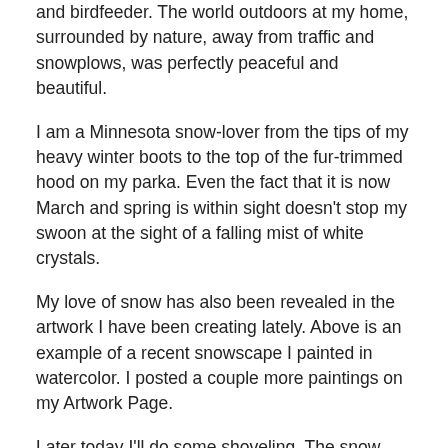and birdfeeder. The world outdoors at my home, surrounded by nature, away from traffic and snowplows, was perfectly peaceful and beautiful.
I am a Minnesota snow-lover from the tips of my heavy winter boots to the top of the fur-trimmed hood on my parka. Even the fact that it is now March and spring is within sight doesn't stop my swoon at the sight of a falling mist of white crystals.
My love of snow has also been revealed in the artwork I have been creating lately. Above is an example of a recent snowscape I painted in watercolor. I posted a couple more paintings on my Artwork Page.
Later today I'll do some shoveling. The snow won't last long this time of year, but right now I keep looking out the window and smiling.